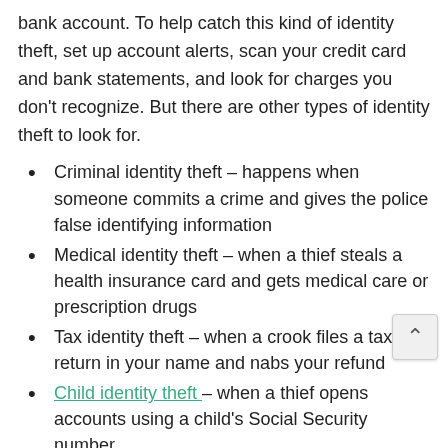bank account. To help catch this kind of identity theft, set up account alerts, scan your credit card and bank statements, and look for charges you don't recognize. But there are other types of identity theft to look for.
Criminal identity theft – happens when someone commits a crime and gives the police false identifying information
Medical identity theft – when a thief steals a health insurance card and gets medical care or prescription drugs
Tax identity theft – when a crook files a tax return in your name and nabs your refund
Child identity theft – when a thief opens accounts using a child's Social Security number
And that doesn't cover everything. You can read more about these and other types of identity theft, including employment identity theft and senior identity theft.
Techniques identity thieves use